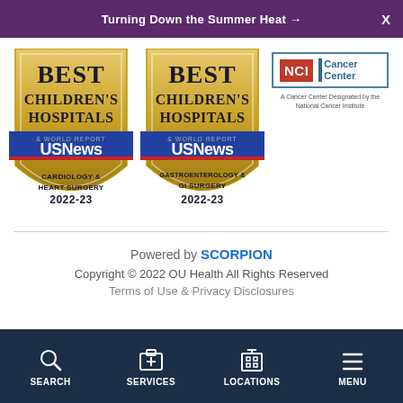Turning Down the Summer Heat →
[Figure (logo): US News Best Children's Hospitals badge - Cardiology & Heart Surgery 2022-23]
[Figure (logo): US News Best Children's Hospitals badge - Gastroenterology & GI Surgery 2022-23]
[Figure (logo): NCI Cancer Center - A Cancer Center Designated by the National Cancer Institute]
Powered by SCORPION
Copyright © 2022 OU Health All Rights Reserved
Terms of Use & Privacy Disclosures
SEARCH | SERVICES | LOCATIONS | MENU